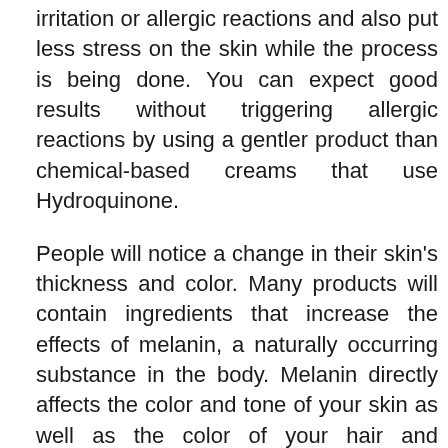irritation or allergic reactions and also put less stress on the skin while the process is being done. You can expect good results without triggering allergic reactions by using a gentler product than chemical-based creams that use Hydroquinone.
People will notice a change in their skin's thickness and color. Many products will contain ingredients that increase the effects of melanin, a naturally occurring substance in the body. Melanin directly affects the color and tone of your skin as well as the color of your hair and eyelashes. Hyperpigmentation can be caused by certain skin conditions.
Melanin plays a key role in this condition